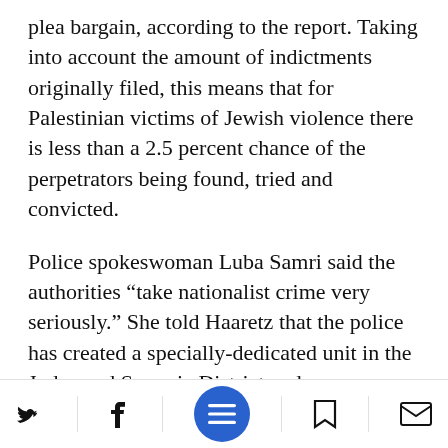plea bargain, according to the report. Taking into account the amount of indictments originally filed, this means that for Palestinian victims of Jewish violence there is less than a 2.5 percent chance of the perpetrators being found, tried and convicted.
Police spokeswoman Luba Samri said the authorities “take nationalist crime very seriously.” She told Haaretz that the police has created a specially-dedicated unit in the Judea and Samaria District and was “investing efforts and resources in the intelligence, operational and inve...ive spheres to